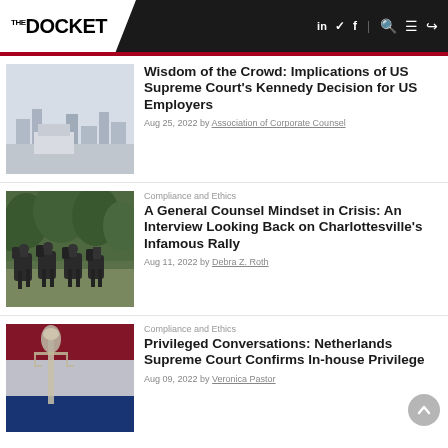The Docket
[Figure (photo): Photo of an urban rooftop terrace with city skyline in background, muted tones]
Wisdom of the Crowd: Implications of US Supreme Court’s Kennedy Decision for US Employers
Aug 25, 2022 by Association of Corporate Counsel
Compliance and Ethics
[Figure (photo): Photo of mounted police officers on horseback in a park setting]
A General Counsel Mindset in Crisis: An Interview Looking Back on Charlottesville’s Infamous Rally
Aug 11, 2022 by Debra Z. Roth
Compliance and Ethics
[Figure (photo): Photo of a figure of justice statue overlaid with red, white, and blue flag colors (Netherlands flag)]
Privileged Conversations: Netherlands Supreme Court Confirms In-house Privilege
Aug 09, 2022 by Veronica Pastor